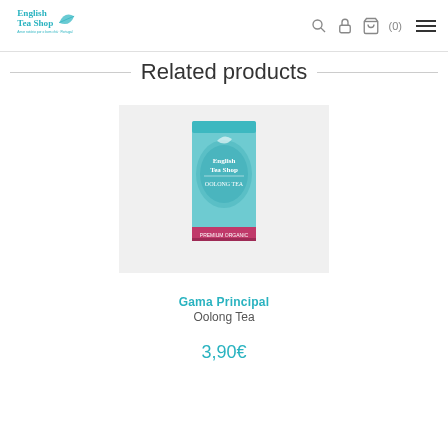English Tea Shop — navigation header with logo, search, lock, bag (0), menu icons
Related products
[Figure (photo): Product image of English Tea Shop Oolong Tea box on light grey background]
Gama Principal
Oolong Tea
3,90€